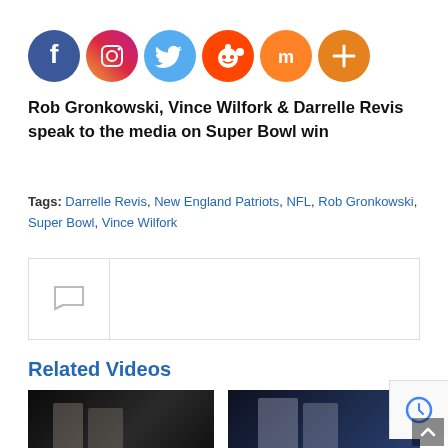[Figure (other): Row of social media share icons: Facebook (blue circle), Instagram (gradient pink-purple circle), Twitter (light blue circle), Reddit (orange circle), Mix (orange circle), More/Plus (orange circle)]
Rob Gronkowski, Vince Wilfork & Darrelle Revis speak to the media on Super Bowl win
Tags: Darrelle Revis, New England Patriots, NFL, Rob Gronkowski, Super Bowl, Vince Wilfork
[Figure (other): Comment/user box with flag icon on left side and empty content area on right]
Related Videos
[Figure (photo): Dark video thumbnail showing a person on stage with spotlight]
[Figure (photo): Dark video thumbnail showing football players in blue/white uniforms]